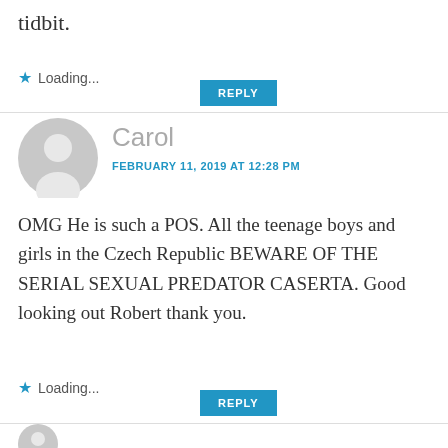tidbit.
Loading...
REPLY
Carol
FEBRUARY 11, 2019 AT 12:28 PM
OMG He is such a POS. All the teenage boys and girls in the Czech Republic BEWARE OF THE SERIAL SEXUAL PREDATOR CASERTA. Good looking out Robert thank you.
Loading...
REPLY